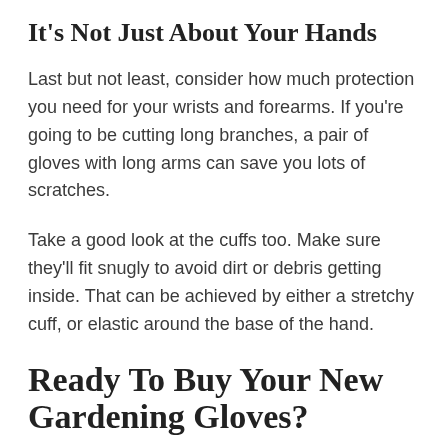It's Not Just About Your Hands
Last but not least, consider how much protection you need for your wrists and forearms. If you're going to be cutting long branches, a pair of gloves with long arms can save you lots of scratches.
Take a good look at the cuffs too. Make sure they'll fit snugly to avoid dirt or debris getting inside. That can be achieved by either a stretchy cuff, or elastic around the base of the hand.
Ready To Buy Your New Gardening Gloves?